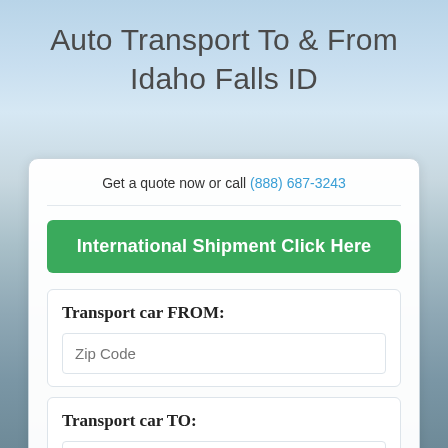Auto Transport To & From Idaho Falls ID
Get a quote now or call (888) 687-3243
International Shipment Click Here
Transport car FROM:
Zip Code
Transport car TO:
Zip Code
Transport Type